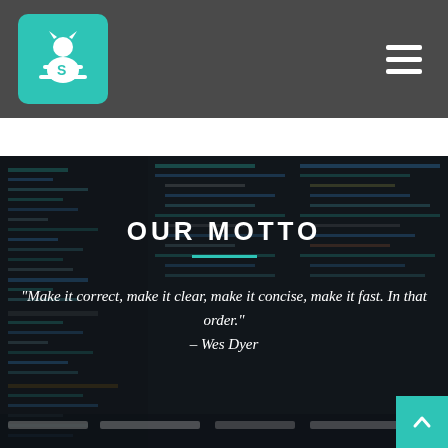Navigation header with logo and hamburger menu
[Figure (screenshot): Dark code editor screenshot used as background image behind the motto section]
OUR MOTTO
"Make it correct, make it clear, make it concise, make it fast. In that order." – Wes Dyer